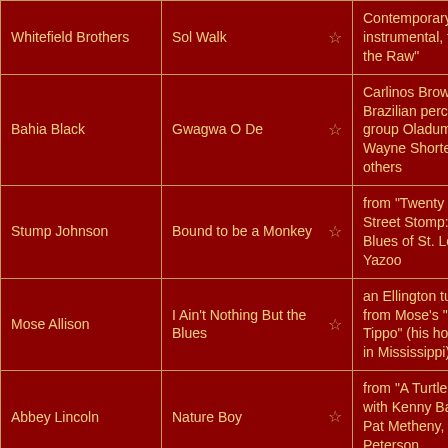| Artist | Song | Notes |
| --- | --- | --- |
| Whitefield Brothers | Sol Walk ☆ | Contemporary soul instrumental, from "In the Raw" |
| Bahia Black | Gwagwa O De ☆ | Carlinos Brown and Brazilian percussion group Oladum, plus Wayne Shorter and others |
| Stump Johnson | Bound to be a Monkey ☆ | from "Twenty First Street Stomp: Piano Blues of St. Louis" on Yazoo |
| Mose Allison | I Ain't Nothing But the Blues ☆ | an Ellington tune, from Mose's "Sage of Tippo" (his hometown in Mississippi) |
| Abbey Lincoln | Nature Boy ☆ | from "A Turtle Dream" with Kenny Barron, Pat Metheny, Lucky Peterson |
| Lester Bowie's Brass Fantasy | Da Butt ☆ | Marcus Miller composition |
| Joe Jackson | What's the Use of Getting Sober (When You're Gonna Get Drunk Again) ☆ |  |